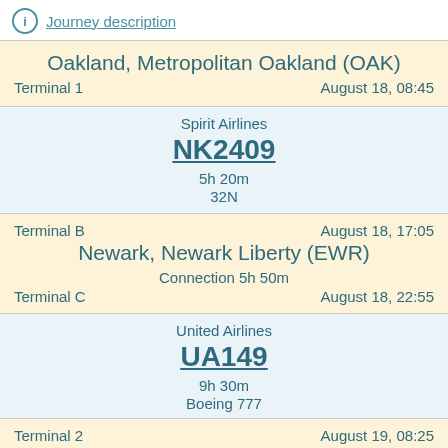Journey description
Oakland, Metropolitan Oakland (OAK)
Terminal 1    August 18, 08:45
Spirit Airlines
NK2409
5h 20m
32N
Terminal B    August 18, 17:05
Newark, Newark Liberty (EWR)
Connection 5h 50m
Terminal C    August 18, 22:55
United Airlines
UA149
9h 30m
Boeing 777
Terminal 2    August 19, 08:25